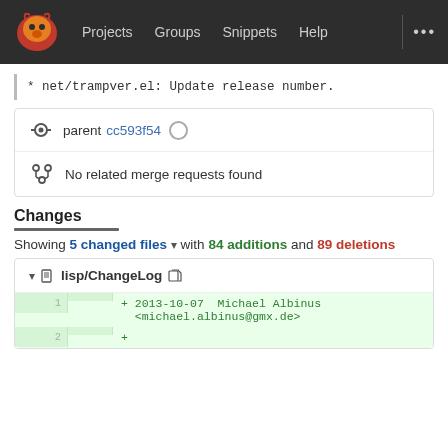Projects  Groups  Snippets  Help  ...
* net/trampver.el: Update release number.
parent cc593f54
No related merge requests found
Changes
Showing 5 changed files with 84 additions and 89 deletions
lisp/ChangeLog
+ 2013-10-07  Michael Albinus <michael.albinus@gmx.de>
+